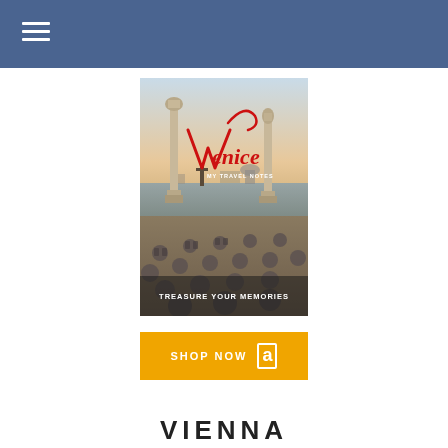[Figure (illustration): Book cover for 'Venice My Travel Notes' showing the Piazzetta San Marco with columns, outdoor cafe chairs and tables, Venice skyline with church domes in background. Text reads 'Venice MY TRAVEL NOTES' in red script and 'TREASURE YOUR MEMORIES' in white at bottom.]
SHOP NOW
VIENNA